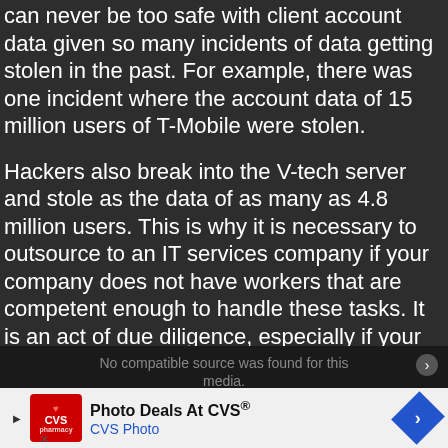can never be too safe with client account data given so many incidents of data getting stolen in the past. For example, there was one incident where the account data of 15 million users of T-Mobile were stolen.
Hackers also break into the V-tech server and stole as the data of as many as 4.8 million users. This is why it is necessary to outsource to an IT services company if your company does not have workers that are competent enough to handle these tasks. It is an act of due diligence, especially if your company is accepting a variety of payment methods such as gift certificates, credit cards, and wire transfers.
What do you think of business management for IT
[Figure (screenshot): Video player overlay showing 'No compatible source was found for this media.' message on dark background with a circular navigation button.]
[Figure (other): CVS Photo advertisement banner: 'Photo Deals At CVS® CVS Photo' with CVS pharmacy logo on left and blue diamond navigation arrow on right.]